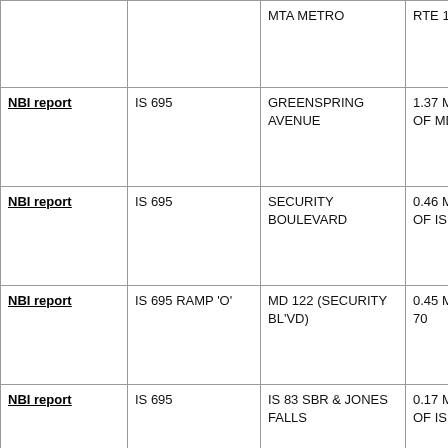|  |  | MTA METRO | RTE 140 |
| NBI report | IS 695 | GREENSPRING AVENUE | 1.37 MILE S OF MD 25 |
| NBI report | IS 695 | SECURITY BOULEVARD | 0.46 MILE N OF IS 70 |
| NBI report | IS 695 RAMP 'O' | MD 122 (SECURITY BL'VD) | 0.45 MI N OF 70 |
| NBI report | IS 695 | IS 83 SBR & JONES FALLS | 0.17 MILE S OF IS 83 |
| NBI report | PADONIA ROAD | MTA LIGHT RAIL | 0.4 MI W OF YORK RD |